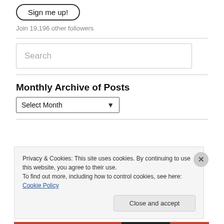Sign me up!
Join 19,196 other followers
Search
Monthly Archive of Posts
Select Month
Privacy & Cookies: This site uses cookies. By continuing to use this website, you agree to their use.
To find out more, including how to control cookies, see here: Cookie Policy
Close and accept